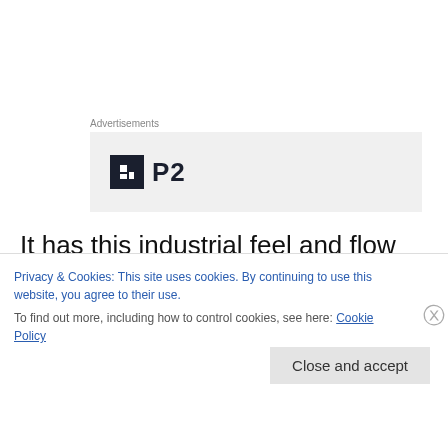Advertisements
[Figure (logo): P2 logo advertisement banner on grey background]
It has this industrial feel and flow that is pretty much fantastic. It shimmers with deep bass, long stretched electric moody guitars and a voice that feels like it's coming from outer space. It's the track that fits the nightly darkness like no other. The groove is slow and determent.
Privacy & Cookies: This site uses cookies. By continuing to use this website, you agree to their use.
To find out more, including how to control cookies, see here: Cookie Policy